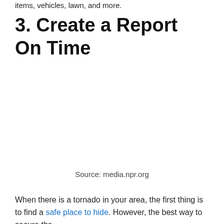items, vehicles, lawn, and more.
3. Create a Report On Time
Source: media.npr.org
When there is a tornado in your area, the first thing is to find a safe place to hide. However, the best way to secure the...